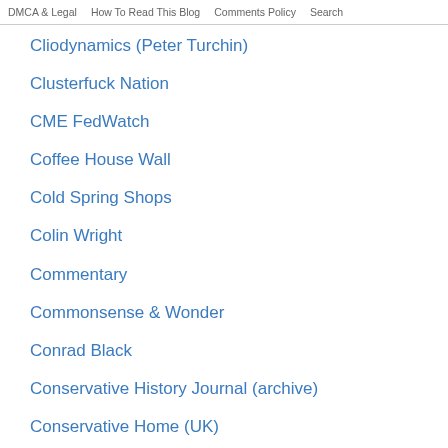DMCA & Legal | How To Read This Blog | Comments Policy | Search
Cliodynamics (Peter Turchin)
Clusterfuck Nation
CME FedWatch
Coffee House Wall
Cold Spring Shops
Colin Wright
Commentary
Commonsense & Wonder
Conrad Black
Conservative History Journal (archive)
Conservative Home (UK)
Conservative Treehouse
Conversable Economist